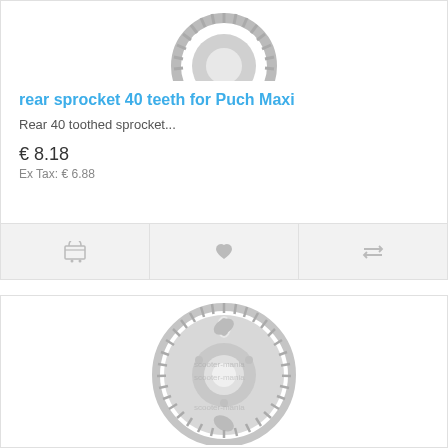[Figure (photo): Top view of a rear sprocket with approximately 40 teeth for Puch Maxi, metallic gray color, shown from above]
rear sprocket 40 teeth for Puch Maxi
Rear 40 toothed sprocket...
€ 8.18
Ex Tax: € 6.88
[Figure (photo): Larger rear sprocket with approximately 44-46 teeth for scooter/moped, metallic gray, watermarked with 'scooter-mania' text, shown from front]